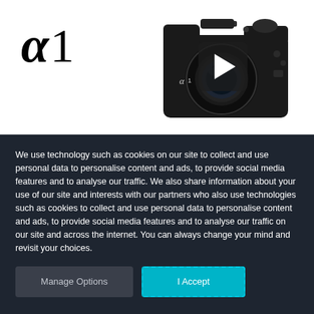[Figure (photo): Sony Alpha 1 camera product image with play button overlay on white background. Large italic 'α 1' logo on the left, Sony Alpha 1 camera body on the right with a dark play button overlay in the center.]
We use technology such as cookies on our site to collect and use personal data to personalise content and ads, to provide social media features and to analyse our traffic. We also share information about your use of our site and interests with our partners who also use technologies such as cookies to collect and use personal data to personalise content and ads, to provide social media features and to analyse our traffic on our site and across the internet. You can always change your mind and revisit your choices.